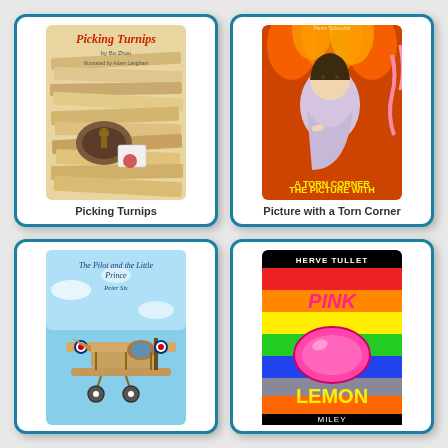[Figure (illustration): Book cover: Picking Turnips - shows stacks of envelopes/papers with a small figure, red title text]
Picking Turnips
[Figure (illustration): Book cover: The Picture with a Torn Corner - shows a child sitting with dramatic fire/flame background, bold yellow title text]
Picture with a Torn Corner
[Figure (illustration): Book cover: The Pilot and the Little Prince - shows a biplane with blue sky, cursive title text]
[Figure (illustration): Book cover: Pink Lemon by Herve Tullet/Miley - colorful horizontal stripes with a pink lemon shape, text PINK and LEMON]